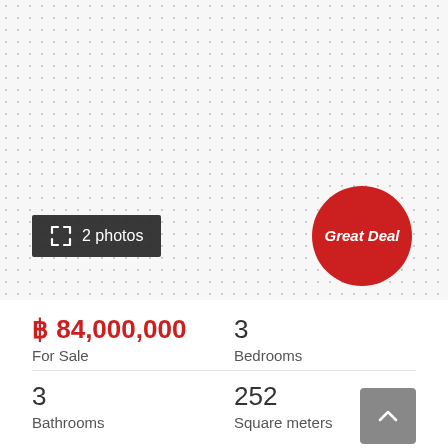[Figure (other): Dotted/spotted light grey background placeholder area for property photos]
2 photos
[Figure (other): Red circular badge with text 'Great Deal']
฿ 84,000,000
For Sale
3
Bedrooms
3
Bathrooms
252
Square meters